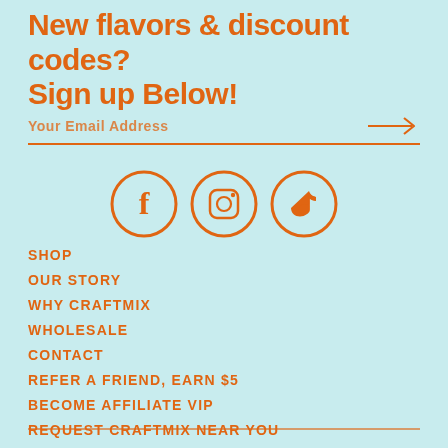New flavors & discount codes? Sign up Below!
Your Email Address
[Figure (infographic): Three social media icon circles in orange: Facebook (f), Instagram (camera/circle), TikTok (music note)]
SHOP
OUR STORY
WHY CRAFTMIX
WHOLESALE
CONTACT
REFER A FRIEND, EARN $5
BECOME AFFILIATE VIP
REQUEST CRAFTMIX NEAR YOU